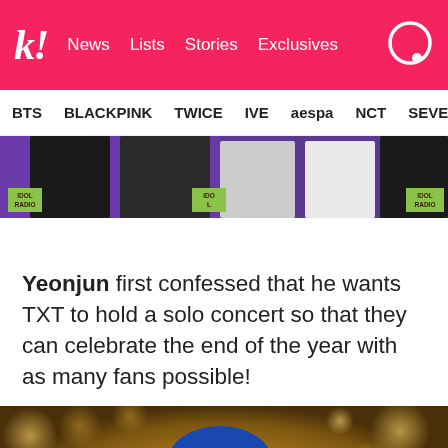koreaboo — News  Lists  Stories  Exclusives
BTS  BLACKPINK  TWICE  IVE  aespa  NCT  SEVE
[Figure (photo): Group photo at IDOL RADIO event, multiple people in formal attire against a purple background with IDOL RADIO logos]
Yeonjun first confessed that he wants TXT to hold a solo concert so that they can celebrate the end of the year with as many fans possible!
[Figure (photo): Young man with blue hair photographed outdoors with blurred autumn foliage in the background]